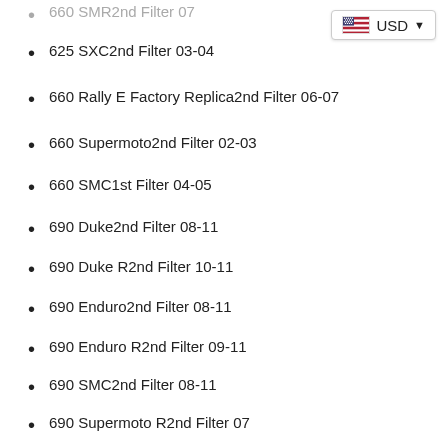660 SMR2nd Filter 07
625 SXC2nd Filter 03-04
660 Rally E Factory Replica2nd Filter 06-07
660 Supermoto2nd Filter 02-03
660 SMC1st Filter 04-05
690 Duke2nd Filter 08-11
690 Duke R2nd Filter 10-11
690 Enduro2nd Filter 08-11
690 Enduro R2nd Filter 09-11
690 SMC2nd Filter 08-11
690 Supermoto R2nd Filter 07
Share